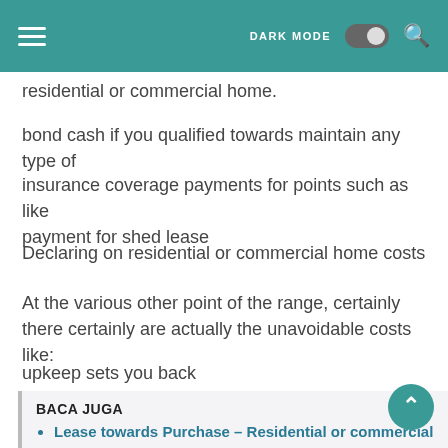DARK MODE [toggle] [search]
residential or commercial home.
bond cash if you qualified towards maintain any type of
insurance coverage payments for points such as like payment for shed lease
Declaring on residential or commercial home costs
At the various other point of the range, certainly there certainly are actually the unavoidable costs like:
upkeep sets you back
body system business charges as well as fees.
BACA JUGA
Lease towards Purchase – Residential or commercial